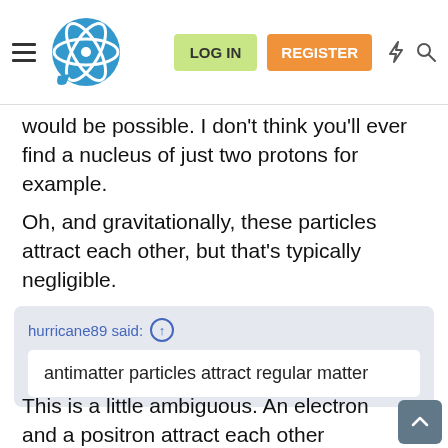LOG IN  REGISTER
would be possible. I don't think you'll ever find a nucleus of just two protons for example.
Oh, and gravitationally, these particles attract each other, but that's typically negligible.
hurricane89 said: ↑  antimatter particles attract regular matter
This is a little ambiguous. An electron and a positron attract each other electrically because they have opposite charge. but a positron is not electrically attracted to a proton because they have the same charge.